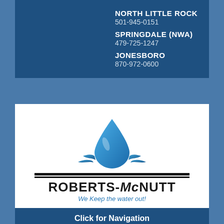NORTH LITTLE ROCK
501-945-0151
SPRINGDALE (NWA)
479-725-1247
JONESBORO
870-972-0600
[Figure (logo): Roberts-McNutt water drop logo with tagline 'We Keep the water out!']
Click for Navigation
Cleaning and Maintaining Your